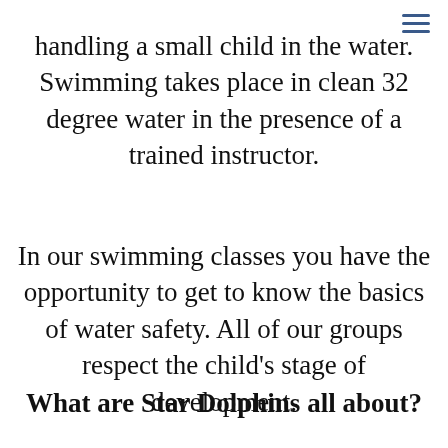handling a small child in the water. Swimming takes place in clean 32 degree water in the presence of a trained instructor.
In our swimming classes you have the opportunity to get to know the basics of water safety. All of our groups respect the child's stage of development.
What are Star Dolphins all about?